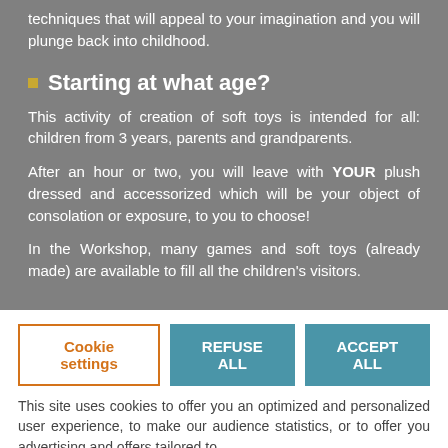techniques that will appeal to your imagination and you will plunge back into childhood.
Starting at what age?
This activity of creation of soft toys is intended for all: children from 3 years, parents and grandparents.
After an hour or two, you will leave with YOUR plush dressed and accessorized which will be your object of consolation or exposure, to you to choose!
In the Workshop, many games and soft toys (already made) are available to fill all the children's visitors.
Cookie settings
REFUSE ALL
ACCEPT ALL
This site uses cookies to offer you an optimized and personalized user experience, to make our audience statistics, or to offer you advertising and offers tailored to